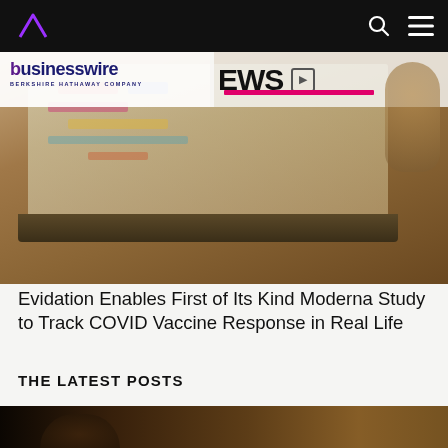Evidation — navigation bar with logo, search and menu icons
[Figure (screenshot): BusinessWire article page screenshot showing a laptop on a desk with news website on screen]
Evidation Enables First of Its Kind Moderna Study to Track COVID Vaccine Response in Real Life
THE LATEST POSTS
[Figure (photo): Close-up photo of a person holding a mobile device, bottom portion visible]